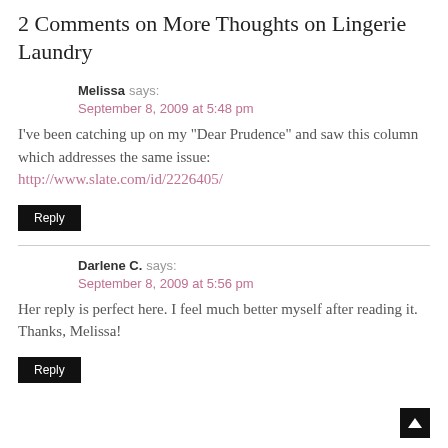2 Comments on More Thoughts on Lingerie Laundry
Melissa says:
September 8, 2009 at 5:48 pm
I've been catching up on my "Dear Prudence" and saw this column which addresses the same issue:
http://www.slate.com/id/2226405/
Reply
Darlene C. says:
September 8, 2009 at 5:56 pm
Her reply is perfect here. I feel much better myself after reading it. Thanks, Melissa!
Reply